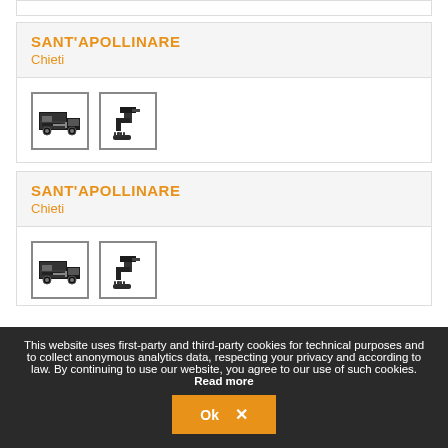SANT'APOLLINARE
Chieti
[Figure (illustration): Two service icons: a water truck icon and a water tap icon]
SANT'APOLLINARE
Chieti
[Figure (illustration): Two service icons: a water truck icon and a water tap icon (partially visible)]
This website uses first-party and third-party cookies for technical purposes and to collect anonymous analytics data, respecting your privacy and according to law. By continuing to use our website, you agree to our use of such cookies.
Read more
Ok ✕